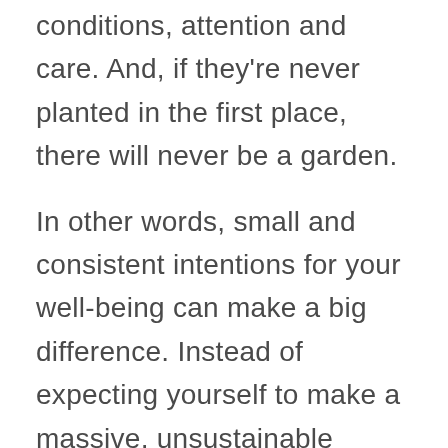conditions, attention and care. And, if they're never planted in the first place, there will never be a garden.
In other words, small and consistent intentions for your well-being can make a big difference. Instead of expecting yourself to make a massive, unsustainable change all at once, try instead to shift by one per cent every day.
The Seeds of Intention cards are designed help you make